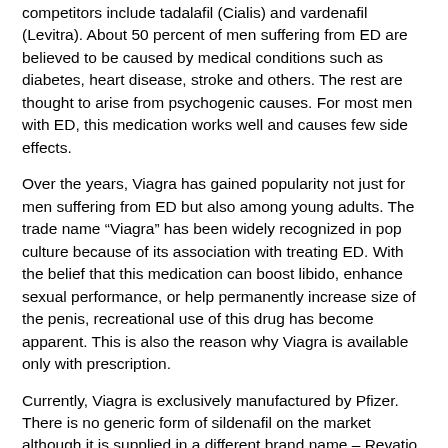competitors include tadalafil (Cialis) and vardenafil (Levitra). About 50 percent of men suffering from ED are believed to be caused by medical conditions such as diabetes, heart disease, stroke and others. The rest are thought to arise from psychogenic causes. For most men with ED, this medication works well and causes few side effects.
Over the years, Viagra has gained popularity not just for men suffering from ED but also among young adults. The trade name “Viagra” has been widely recognized in pop culture because of its association with treating ED. With the belief that this medication can boost libido, enhance sexual performance, or help permanently increase size of the penis, recreational use of this drug has become apparent. This is also the reason why Viagra is available only with prescription.
Currently, Viagra is exclusively manufactured by Pfizer. There is no generic form of sildenafil on the market although it is supplied in a different brand name – Revatio. Viagra is dispensed as tablets containing 25, 50, and 100 mg sildenafil. It is diamond-shaped and colored blue, hence the moniker “blue pill”. Meanwhile, Revatio is available as 20 mg tablet and is often used for PAH.
Viagra Uses